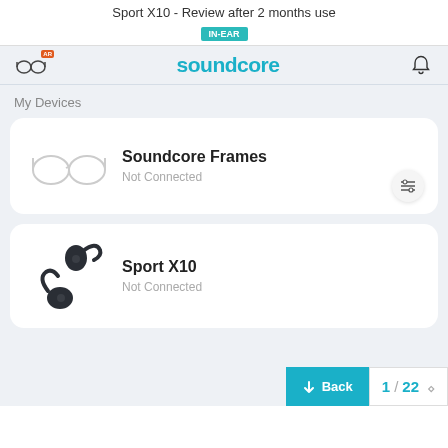Sport X10 - Review after 2 months use
IN-EAR
[Figure (screenshot): Soundcore app header with glasses icon (AR badge), Soundcore logo in teal, and bell notification icon]
My Devices
[Figure (screenshot): Device card for Soundcore Frames showing glasses outline icon, device name Soundcore Frames, status Not Connected, and a tuning/settings button]
Soundcore Frames
Not Connected
[Figure (screenshot): Device card for Sport X10 showing sport earbuds image, device name Sport X10, status Not Connected]
Sport X10
Not Connected
Back
1 / 22